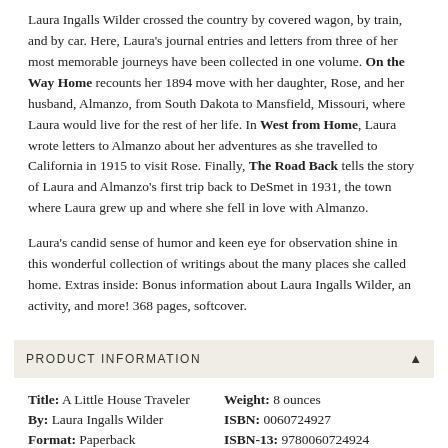Laura Ingalls Wilder crossed the country by covered wagon, by train, and by car. Here, Laura's journal entries and letters from three of her most memorable journeys have been collected in one volume. On the Way Home recounts her 1894 move with her daughter, Rose, and her husband, Almanzo, from South Dakota to Mansfield, Missouri, where Laura would live for the rest of her life. In West from Home, Laura wrote letters to Almanzo about her adventures as she travelled to California in 1915 to visit Rose. Finally, The Road Back tells the story of Laura and Almanzo's first trip back to DeSmet in 1931, the town where Laura grew up and where she fell in love with Almanzo.
Laura's candid sense of humor and keen eye for observation shine in this wonderful collection of writings about the many places she called home. Extras inside: Bonus information about Laura Ingalls Wilder, an activity, and more! 368 pages, softcover.
PRODUCT INFORMATION
| Title: A Little House Traveler | Weight: 8 ounces |
| By: Laura Ingalls Wilder | ISBN: 0060724927 |
| Format: Paperback | ISBN-13: 9780060724924 |